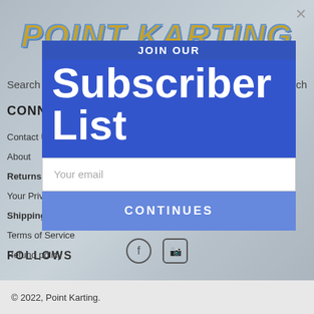[Figure (screenshot): Point Karting website footer page showing logo, search bars, connections and resources section with nav links, social icons, and copyright footer. Overlaid with a modal popup.]
POINT KARTING
Search   Search
CONNECTIONS AND RESOURCES
Contact Us
About
Returns & Refunds
Your Privacy - Our Policy
Shipping Policy
Terms of Service
Refund policy
FOLLOWS
JOIN OUR
Subscriber
List
Your email
CONTINUES
© 2022, Point Karting.